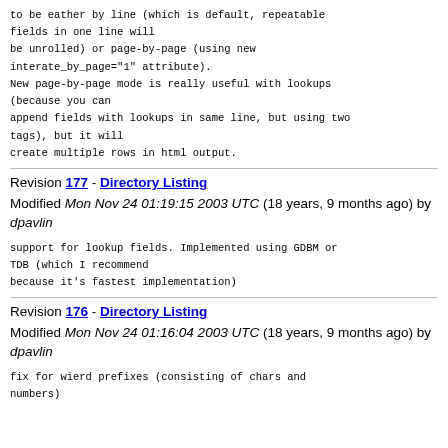to be eather by line (which is default, repeatable fields in one line will
be unrolled) or page-by-page (using new interate_by_page="1" attribute).
New page-by-page mode is really useful with lookups (because you can
append fields with lookups in same line, but using two tags), but it will
create multiple rows in html output.
Revision 177 - Directory Listing
Modified Mon Nov 24 01:19:15 2003 UTC (18 years, 9 months ago) by dpavlin
support for lookup fields. Implemented using GDBM or TDB (which I recommend
because it's fastest implementation)
Revision 176 - Directory Listing
Modified Mon Nov 24 01:16:04 2003 UTC (18 years, 9 months ago) by dpavlin
fix for wierd prefixes (consisting of chars and numbers)